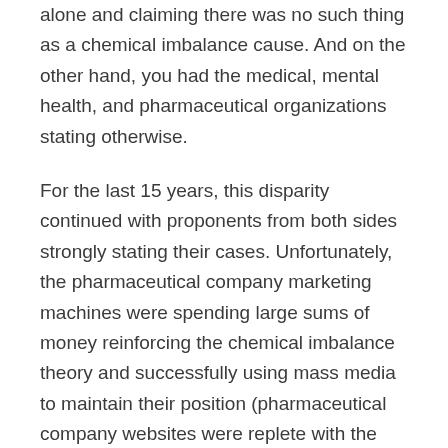alone and claiming there was no such thing as a chemical imbalance cause. And on the other hand, you had the medical, mental health, and pharmaceutical organizations stating otherwise.
For the last 15 years, this disparity continued with proponents from both sides strongly stating their cases. Unfortunately, the pharmaceutical company marketing machines were spending large sums of money reinforcing the chemical imbalance theory and successfully using mass media to maintain their position (pharmaceutical company websites were replete with the chemical imbalance notion).
In 2005, however, independent research began to